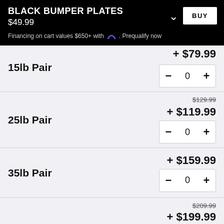BLACK BUMPER PLATES
$49.99
Financing on cart values $650+ with [logo]. Prequalify now
15lb Pair + $79.99, quantity 0
25lb Pair + $119.99 (was $129.99), quantity 0
35lb Pair + $159.99, quantity 0
+ $199.99 (was $209.99)